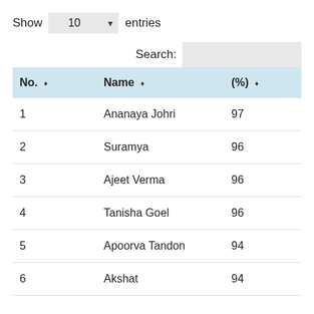Show 10 entries
Search:
| No. | Name | (%) |
| --- | --- | --- |
| 1 | Ananaya Johri | 97 |
| 2 | Suramya | 96 |
| 3 | Ajeet Verma | 96 |
| 4 | Tanisha Goel | 96 |
| 5 | Apoorva Tandon | 94 |
| 6 | Akshat | 94 |